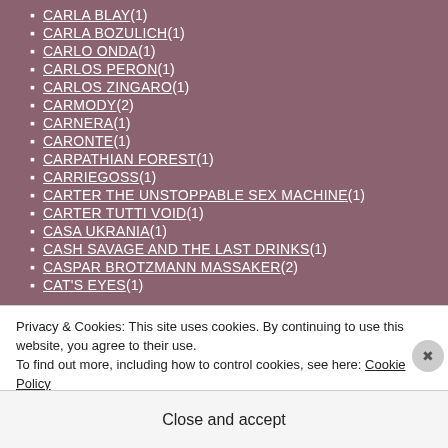CARLA BLAY (1)
CARLA BOZULICH (1)
CARLO ONDA (1)
CARLOS PERON (1)
CARLOS ZINGARO (1)
CARMODY (2)
CARNERA (1)
CARONTE (1)
CARPATHIAN FOREST (1)
CARRIEGOSS (1)
CARTER THE UNSTOPPABLE SEX MACHINE (1)
CARTER TUTTI VOID (1)
CASA UKRANIA (1)
CASH SAVAGE AND THE LAST DRINKS (1)
CASPAR BROTZMANN MASSAKER (2)
CAT'S EYES (1)
Privacy & Cookies: This site uses cookies. By continuing to use this website, you agree to their use.
To find out more, including how to control cookies, see here: Cookie Policy
Close and accept